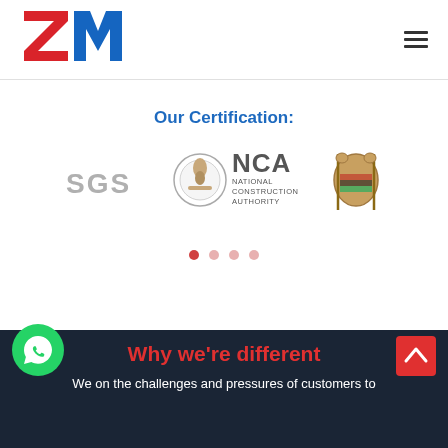[Figure (logo): ZM Engineering logo — red and blue stylized letters ZM above the word ENGINEERING in blue]
Our Certification:
[Figure (logo): SGS certification logo in gray]
[Figure (logo): NCA National Construction Authority logo]
[Figure (logo): Kenya coat of arms / government seal]
Why we're different
We on the challenges and pressures of customers to